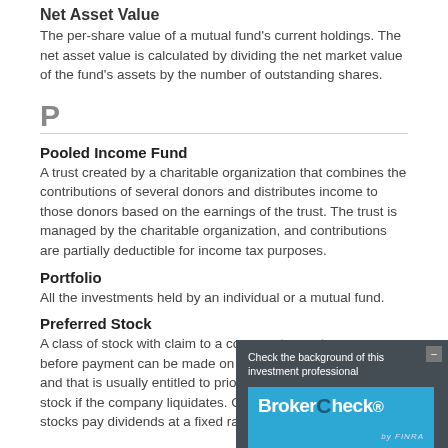Net Asset Value
The per-share value of a mutual fund's current holdings. The net asset value is calculated by dividing the net market value of the fund's assets by the number of outstanding shares.
P
Pooled Income Fund
A trust created by a charitable organization that combines the contributions of several donors and distributes income to those donors based on the earnings of the trust. The trust is managed by the charitable organization, and contributions are partially deductible for income tax purposes.
Portfolio
All the investments held by an individual or a mutual fund.
Preferred Stock
A class of stock with claim to a company's earnings before payment can be made on the common stock, and that is usually entitled to priority over common stock if the company liquidates. Generally, preferred stocks pay dividends at a fixed rate.
[Figure (other): BrokerCheck overlay widget — 'Check the background of this investment professional' with BrokerCheck by FINRA branding in a dark/teal banner.]